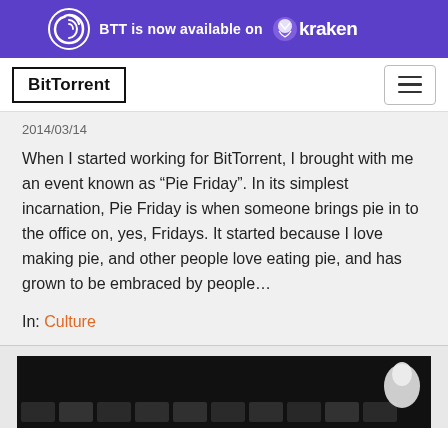BTT is now available on Kraken
[Figure (logo): BitTorrent logo in bordered box]
2014/03/14
When I started working for BitTorrent, I brought with me an event known as “Pie Friday”. In its simplest incarnation, Pie Friday is when someone brings pie in to the office on, yes, Fridays. It started because I love making pie, and other people love eating pie, and has grown to be embraced by people…
In: Culture
[Figure (screenshot): Dark background image partially visible at bottom of page]